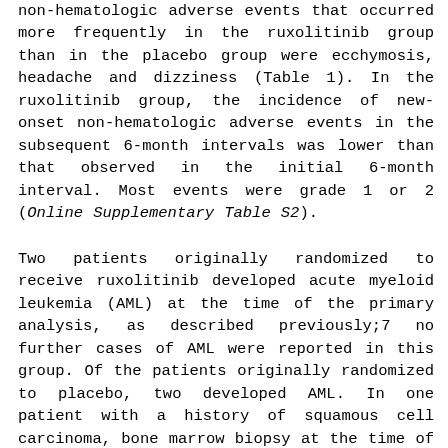non-hematologic adverse events that occurred more frequently in the ruxolitinib group than in the placebo group were ecchymosis, headache and dizziness (Table 1). In the ruxolitinib group, the incidence of new-onset non-hematologic adverse events in the subsequent 6-month intervals was lower than that observed in the initial 6-month interval. Most events were grade 1 or 2 (Online Supplementary Table S2).
Two patients originally randomized to receive ruxolitinib developed acute myeloid leukemia (AML) at the time of the primary analysis, as described previously;7 no further cases of AML were reported in this group. Of the patients originally randomized to placebo, two developed AML. In one patient with a history of squamous cell carcinoma, bone marrow biopsy at the time of crossover showed 11% blasts and loss of chromosome 5 and deletion of 17p; this